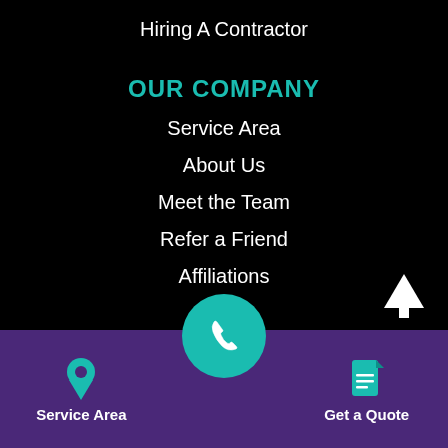Hiring A Contractor
OUR COMPANY
Service Area
About Us
Meet the Team
Refer a Friend
Affiliations
Q&A
Blog
Privacy Policy
Service Area | Get a Quote